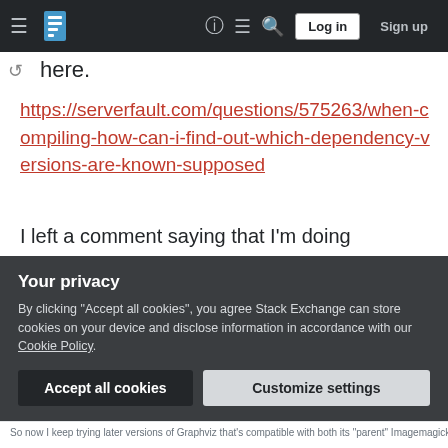Stack Exchange navigation bar with Log in and Sign up buttons
here.
https://serverfault.com/questions/575263/when-compiling-how-can-i-find-out-which-dependency-versions-are-known-supposed
I left a comment saying that I'm doing packaging from my profession as sysadmin, and asked what would have been a better stack exchange site to post my question, but I never got a reply.
I'm certainly not impatient or looking to violate any
Your privacy
By clicking "Accept all cookies", you agree Stack Exchange can store cookies on your device and disclose information in accordance with our Cookie Policy.
Accept all cookies
Customize settings
So now I keep trying later versions of Graphviz that's compatible with both its "parent" ImageMagick, and